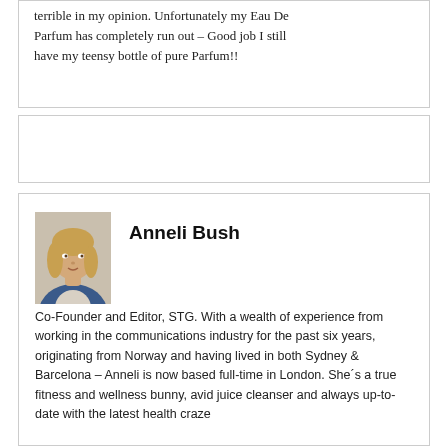terrible in my opinion. Unfortunately my Eau De Parfum has completely run out – Good job I still have my teensy bottle of pure Parfum!!
[Figure (photo): Portrait photo of Anneli Bush, a young blonde woman wearing a blue blazer]
Anneli Bush
Co-Founder and Editor, STG. With a wealth of experience from working in the communications industry for the past six years, originating from Norway and having lived in both Sydney & Barcelona – Anneli is now based full-time in London. She´s a true fitness and wellness bunny, avid juice cleanser and always up-to-date with the latest health craze